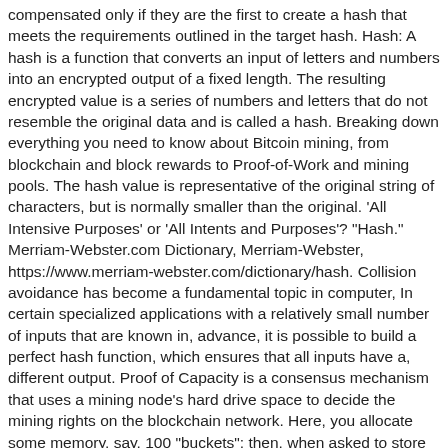compensated only if they are the first to create a hash that meets the requirements outlined in the target hash. Hash: A hash is a function that converts an input of letters and numbers into an encrypted output of a fixed length. The resulting encrypted value is a series of numbers and letters that do not resemble the original data and is called a hash. Breaking down everything you need to know about Bitcoin mining, from blockchain and block rewards to Proof-of-Work and mining pools. The hash value is representative of the original string of characters, but is normally smaller than the original. 'All Intensive Purposes' or 'All Intents and Purposes'? "Hash." Merriam-Webster.com Dictionary, Merriam-Webster, https://www.merriam-webster.com/dictionary/hash. Collision avoidance has become a fundamental topic in computer, In certain specialized applications with a relatively small number of inputs that are known in, advance, it is possible to build a perfect hash function, which ensures that all inputs have a, different output. Proof of Capacity is a consensus mechanism that uses a mining node's hard drive space to decide the mining rights on the blockchain network. Here, you allocate some memory, say, 100 "buckets"; then, when asked to store an (key, value) pair in the dictionary, you hash the key into a number 0-99, and store the pair in the corresponding bucket in memory. Get step-by-step explanations, verified by experts. A jumble; a hodgepodge. The hash function is a type of mathematical function, which, when applied to a digital file (record), assigns it a specific value called a hash (or "hash